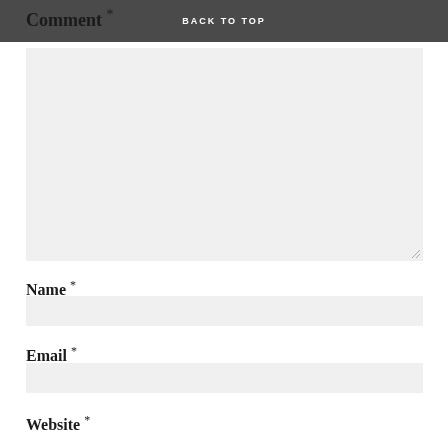BACK TO TOP
Comment *
[Figure (other): Large comment textarea input box with light gray background and resize handle in bottom-right corner]
Name *
[Figure (other): Name text input field with light gray background]
Email *
[Figure (other): Email text input field with light gray background]
Website *